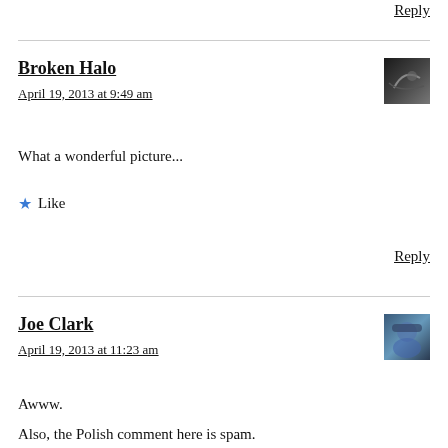Reply
Broken Halo
April 19, 2013 at 9:49 am
[Figure (photo): Avatar image for Broken Halo commenter, dark toned photo]
What a wonderful picture...
★ Like
Reply
Joe Clark
April 19, 2013 at 11:23 am
[Figure (photo): Avatar image for Joe Clark commenter, person wearing hat]
Awww.
Also, the Polish comment here is spam.